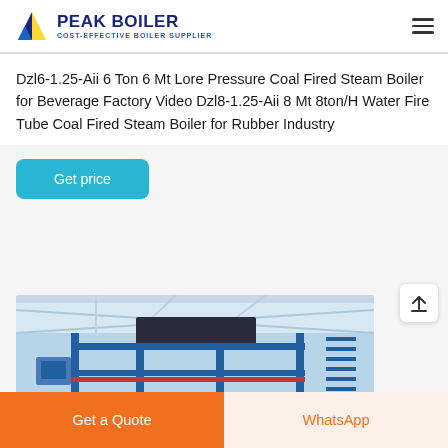PEAK BOILER COST-EFFECTIVE BOILER SUPPLIER
Dzl6-1.25-Aii 6 Ton 6 Mt Lore Pressure Coal Fired Steam Boiler for Beverage Factory Video Dzl8-1.25-Aii 8 Mt 8ton/H Water Fire Tube Coal Fired Steam Boiler for Rubber Industry
Get price
[Figure (photo): Interior photo of an industrial boiler installation showing blue metal framework, pipes, and mechanical equipment in a factory or plant setting with a white ceiling.]
Get a Quote
WhatsApp